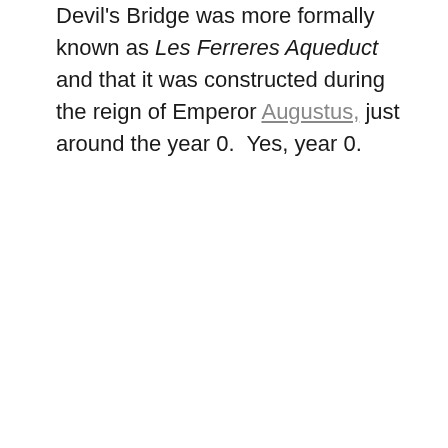Devil's Bridge was more formally known as Les Ferreres Aqueduct and that it was constructed during the reign of Emperor Augustus, just around the year 0.  Yes, year 0.